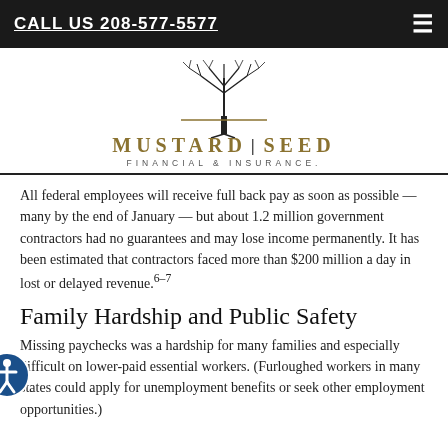CALL US 208-577-5577
[Figure (logo): Mustard Seed Financial & Insurance logo with tree graphic]
All federal employees will receive full back pay as soon as possible — many by the end of January — but about 1.2 million government contractors had no guarantees and may lose income permanently. It has been estimated that contractors faced more than $200 million a day in lost or delayed revenue.6–7
Family Hardship and Public Safety
Missing paychecks was a hardship for many families and especially difficult on lower-paid essential workers. (Furloughed workers in many states could apply for unemployment benefits or seek other employment opportunities.)